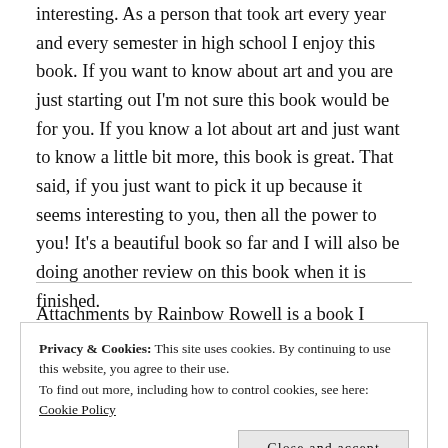interesting. As a person that took art every year and every semester in high school I enjoy this book. If you want to know about art and you are just starting out I'm not sure this book would be for you. If you know a lot about art and just want to know a little bit more, this book is great. That said, if you just want to pick it up because it seems interesting to you, then all the power to you! It's a beautiful book so far and I will also be doing another review on this book when it is finished.
Attachments by Rainbow Rowell is a book I checked out
Privacy & Cookies: This site uses cookies. By continuing to use this website, you agree to their use. To find out more, including how to control cookies, see here: Cookie Policy
Close and accept
but the question st rengerous email Lincoln O'Neill...